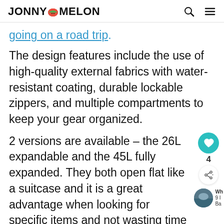JONNY MELON
going on a road trip.
The design features include the use of high-quality external fabrics with water-resistant coating, durable lockable zippers, and multiple compartments to keep your gear organized.
2 versions are available – the 26L expandable and the 45L fully expanded. They both open flat like a suitcase and it is a great advantage when looking for specific items and not wasting time on a hunting mission with all...